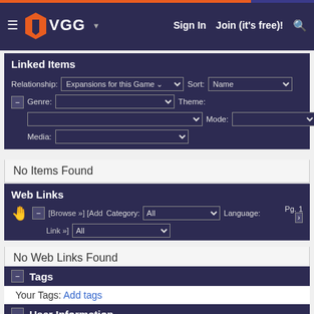VGG — Sign In  Join (it's free)!
Linked Items
Relationship: Expansions for this Game  Sort: Name  Genre:  Theme:  Mode:  Media:  Pg. 1
No Items Found
Web Links
[Browse »] [Add Link »]  Category: All  Language: All  Pg. 1
No Web Links Found
Tags
Your Tags:  Add tags
Popular Tags:  [View All]
User Information
Add a copy to your  Record  Record a